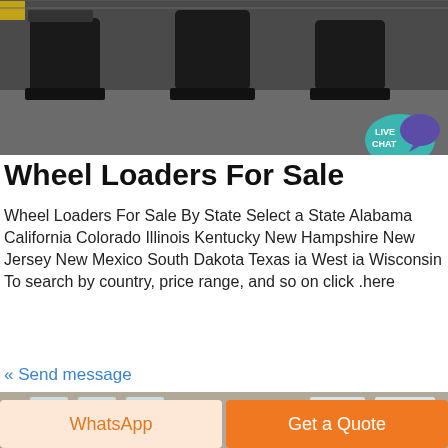[Figure (photo): Industrial warehouse with large black excavator buckets/attachments on the floor]
Wheel Loaders For Sale
Wheel Loaders For Sale By State Select a State Alabama California Colorado Illinois Kentucky New Hampshire New Jersey New Mexico South Dakota Texas ia West ia Wisconsin To search by country, price range, and so on click here.
« Send message
[Figure (photo): Industrial factory floor with yellow excavator/construction machinery]
WhatsApp
Get a Quote